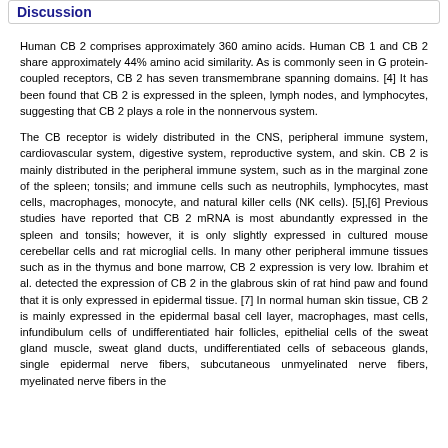Discussion
Human CB 2 comprises approximately 360 amino acids. Human CB 1 and CB 2 share approximately 44% amino acid similarity. As is commonly seen in G protein-coupled receptors, CB 2 has seven transmembrane spanning domains. [4] It has been found that CB 2 is expressed in the spleen, lymph nodes, and lymphocytes, suggesting that CB 2 plays a role in the nonnervous system.
The CB receptor is widely distributed in the CNS, peripheral immune system, cardiovascular system, digestive system, reproductive system, and skin. CB 2 is mainly distributed in the peripheral immune system, such as in the marginal zone of the spleen; tonsils; and immune cells such as neutrophils, lymphocytes, mast cells, macrophages, monocyte, and natural killer cells (NK cells). [5],[6] Previous studies have reported that CB 2 mRNA is most abundantly expressed in the spleen and tonsils; however, it is only slightly expressed in cultured mouse cerebellar cells and rat microglial cells. In many other peripheral immune tissues such as in the thymus and bone marrow, CB 2 expression is very low. Ibrahim et al. detected the expression of CB 2 in the glabrous skin of rat hind paw and found that it is only expressed in epidermal tissue. [7] In normal human skin tissue, CB 2 is mainly expressed in the epidermal basal cell layer, macrophages, mast cells, infundibulum cells of undifferentiated hair follicles, epithelial cells of the sweat gland muscle, sweat gland ducts, undifferentiated cells of sebaceous glands, single epidermal nerve fibers, subcutaneous unmyelinated nerve fibers, myelinated nerve fibers in the